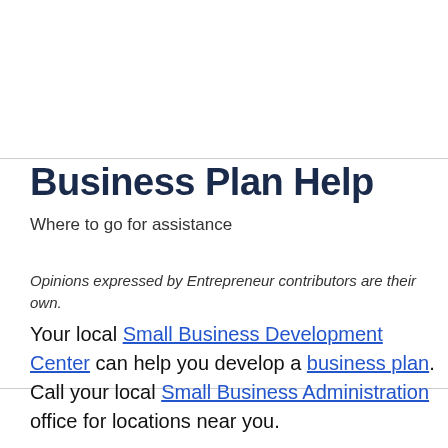Business Plan Help
Where to go for assistance
Opinions expressed by Entrepreneur contributors are their own.
Your local Small Business Development Center can help you develop a business plan. Call your local Small Business Administration office for locations near you.